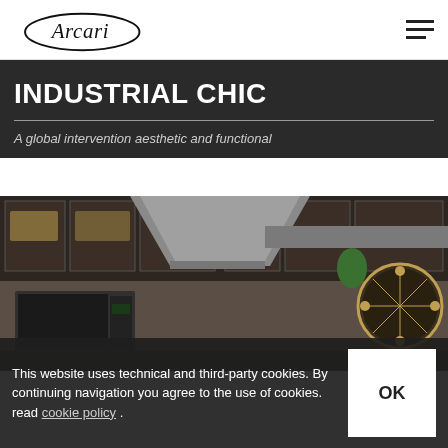Arcari
INDUSTRIAL CHIC
A global intervention aesthetic and functional
[Figure (photo): Industrial chic kitchen interior with dark wood cabinetry, stainless steel range hood, microwave, and a decorative round clock on the right wall]
This website uses technical and third-party cookies. By continuing navigation you agree to the use of cookies. read cookie policy .